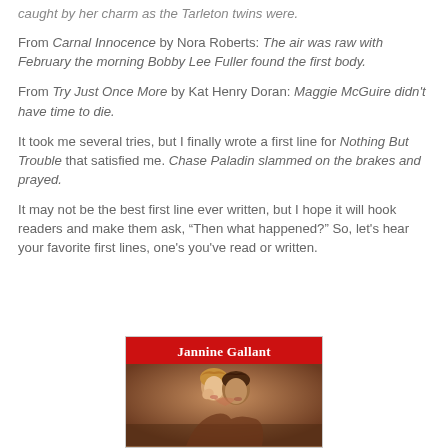caught by her charm as the Tarleton twins were.
From Carnal Innocence by Nora Roberts: The air was raw with February the morning Bobby Lee Fuller found the first body.
From Try Just Once More by Kat Henry Doran: Maggie McGuire didn't have time to die.
It took me several tries, but I finally wrote a first line for Nothing But Trouble that satisfied me. Chase Paladin slammed on the brakes and prayed.
It may not be the best first line ever written, but I hope it will hook readers and make them ask, “Then what happened?” So, let's hear your favorite first lines, one's you've read or written.
[Figure (illustration): Book cover image for Jannine Gallant featuring a couple in a romantic pose with a red banner showing the author's name.]